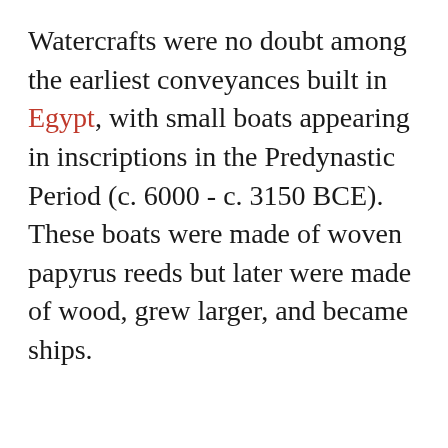Watercrafts were no doubt among the earliest conveyances built in Egypt, with small boats appearing in inscriptions in the Predynastic Period (c. 6000 - c. 3150 BCE). These boats were made of woven papyrus reeds but later were made of wood, grew larger, and became ships.
ADVERTISEMENT
REMOVE ADS